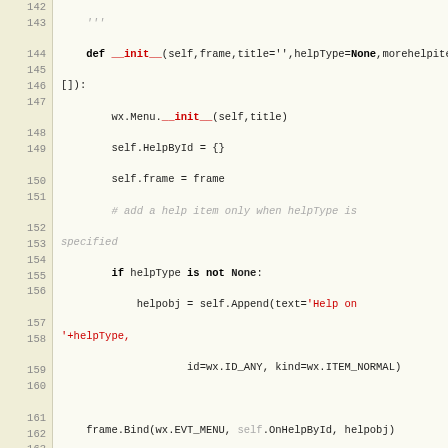[Figure (screenshot): Python source code viewer showing lines 142-166 of a wxPython HelpMenu class implementation. Line numbers on the left in a beige/tan column, code on the right with syntax highlighting (keywords bold, function names red, strings red, comments gray/italic).]